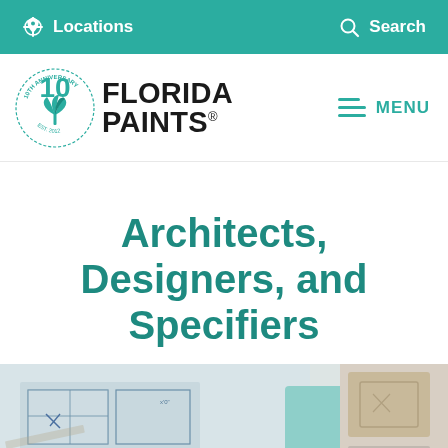Locations   Search
[Figure (logo): Florida Paints 10th Anniversary logo with palm tree badge and bold FLORIDA PAINTS text, teal and black]
Architects, Designers, and Specifiers
[Figure (photo): Blueprint architectural drawings with pencil, a teal square paint swatch, and beige/cream tile samples arranged together]